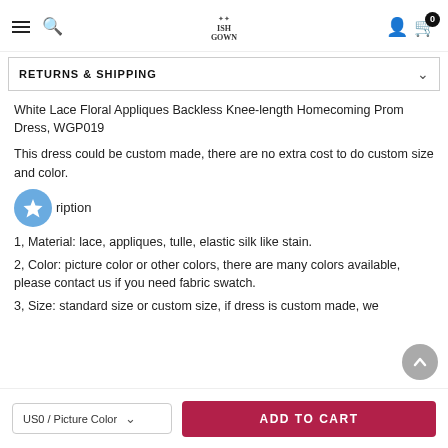ISH GOWN
RETURNS & SHIPPING
White Lace Floral Appliques Backless Knee-length Homecoming Prom Dress, WGP019
This dress could be custom made, there are no extra cost to do custom size and color.
Description
1, Material: lace, appliques, tulle, elastic silk like stain.
2, Color: picture color or other colors, there are many colors available, please contact us if you need fabric swatch.
3, Size: standard size or custom size, if dress is custom made, we
US0 / Picture Color   ADD TO CART